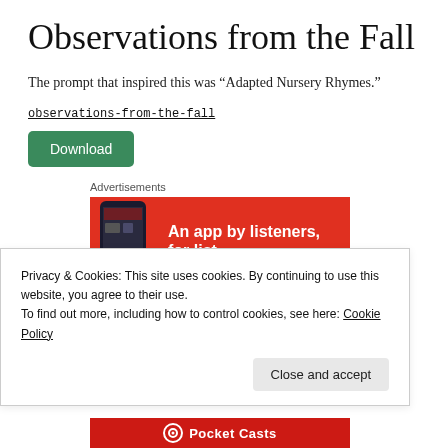Observations from the Fall
The prompt that inspired this was “Adapted Nursery Rhymes.”
observations-from-the-fall
Download
Advertisements
[Figure (other): Red advertisement banner showing a smartphone and text 'An app by listeners, for lis...']
Privacy & Cookies: This site uses cookies. By continuing to use this website, you agree to their use.
To find out more, including how to control cookies, see here: Cookie Policy
Close and accept
[Figure (other): Red Pocket Casts banner at bottom]